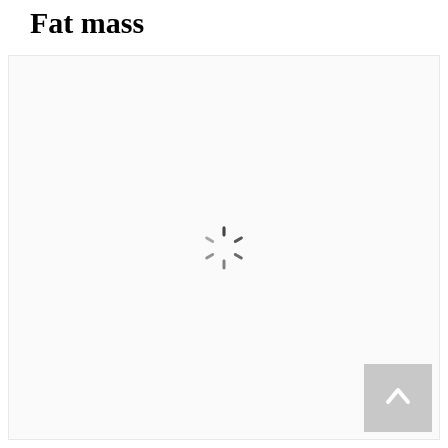Fat mass
[Figure (other): Loading spinner (animated circular loading indicator) centered in the content area, indicating content is being loaded]
[Figure (other): Back-to-top navigation button in the bottom-right corner, light gray square with a white upward-pointing chevron/caret arrow]